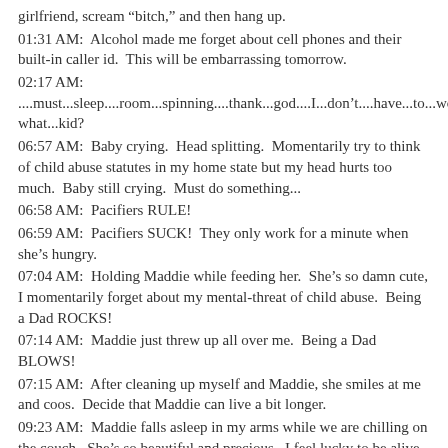girlfriend, scream “bitch,” and then hang up.
01:31 AM:  Alcohol made me forget about cell phones and their built-in caller id.  This will be embarrassing tomorrow.
02:17 AM:  ....must...sleep....room...spinning....thank...god....I...don’t....have...to...work...until...five..tomorrow...kid?.. what...kid?
06:57 AM:  Baby crying.  Head splitting.  Momentarily try to think of child abuse statutes in my home state but my head hurts too much.  Baby still crying.  Must do something...
06:58 AM:  Pacifiers RULE!
06:59 AM:  Pacifiers SUCK!  They only work for a minute when she’s hungry.
07:04 AM:  Holding Maddie while feeding her.  She’s so damn cute, I momentarily forget about my mental-threat of child abuse.  Being a Dad ROCKS!
07:14 AM:  Maddie just threw up all over me.  Being a Dad BLOWS!
07:15 AM:  After cleaning up myself and Maddie, she smiles at me and coos.  Decide that Maddie can live a bit longer.
09:23 AM:  Maddie falls asleep in my arms while we are chilling on the couch.  She’s so beautiful and precious.  I feel lucky to be alive and am grateful for her and all that I have